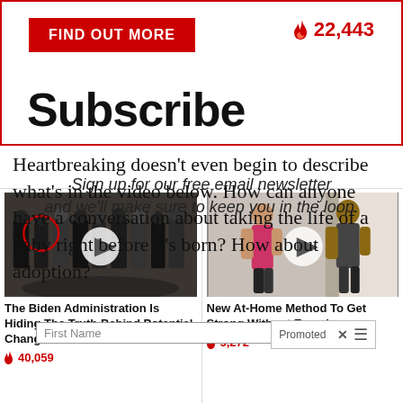[Figure (screenshot): Red banner button labeled FIND OUT MORE on left, fire icon with 22,443 on right, and large bold Subscribe text below]
Heartbreaking doesn't even begin to describe what's in the video below. How can anyone have a conversation about taking the life of a baby right before it's born? How about adoption?
Sign up for our free email newsletter and we'll make sure to keep you in the loop.
First Name
Promoted
[Figure (screenshot): Thumbnail of group of men in suits at CIA headquarters with a red circle highlighting one person and a play button overlay]
The Biden Administration Is Hiding The Truth Behind Potential Changes To US Dollar
🔥 40,059
[Figure (screenshot): Thumbnail of two people exercising/working out with a play button overlay]
New At-Home Method To Get Strong Without Exercise
🔥 5,272